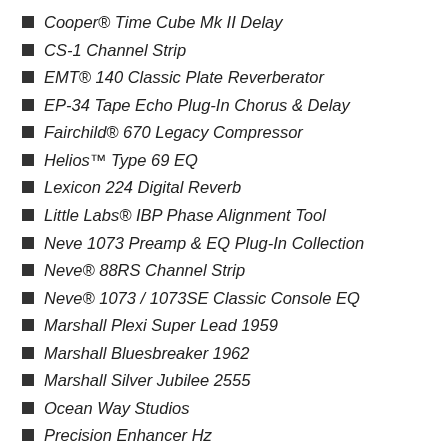Cooper® Time Cube Mk II Delay
CS-1 Channel Strip
EMT® 140 Classic Plate Reverberator
EP-34 Tape Echo Plug-In Chorus & Delay
Fairchild® 670 Legacy Compressor
Helios™ Type 69 EQ
Lexicon 224 Digital Reverb
Little Labs® IBP Phase Alignment Tool
Neve 1073 Preamp & EQ Plug-In Collection
Neve® 88RS Channel Strip
Neve® 1073 / 1073SE Classic Console EQ
Marshall Plexi Super Lead 1959
Marshall Bluesbreaker 1962
Marshall Silver Jubilee 2555
Ocean Way Studios
Precision Enhancer Hz